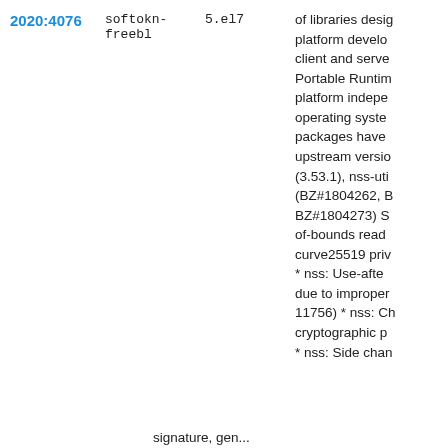| ID | Package | Version | Description |
| --- | --- | --- | --- |
| 2020:4076 | softokn-freebl | 5.el7 | of libraries designed for platform development of client and server applications. Portable Runtime (NSPR) provides platform independent APIs for operating system... packages have upstream version (3.53.1), nss-utils (BZ#1804262, BZ#1804273) S of-bounds read curve25519 priv * nss: Use-afte due to improper 11756) * nss: Ch cryptographic p * nss: Side chan signature, gen... |